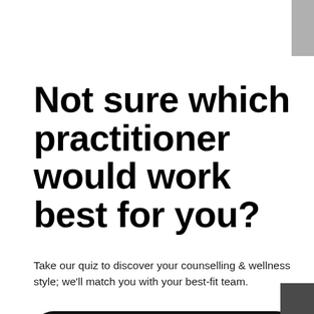Not sure which practitioner would work best for you?
Take our quiz to discover your counselling & wellness style; we'll match you with your best-fit team.
I'm Ready - Send Me My Results! →